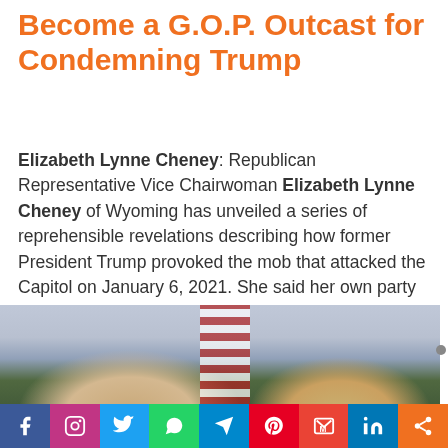Become a G.O.P. Outcast for Condemning Trump
Elizabeth Lynne Cheney: Republican Representative Vice Chairwoman Elizabeth Lynne Cheney of Wyoming has unveiled a series of reprehensible revelations describing how former President Trump provoked the mob that attacked the Capitol on January 6, 2021. She said her own party was "justifying the untenable."
[Figure (photo): Photo of two people side by side, a woman with glasses and blonde hair on the left and a man with blonde hair on the right, with an American flag in the background]